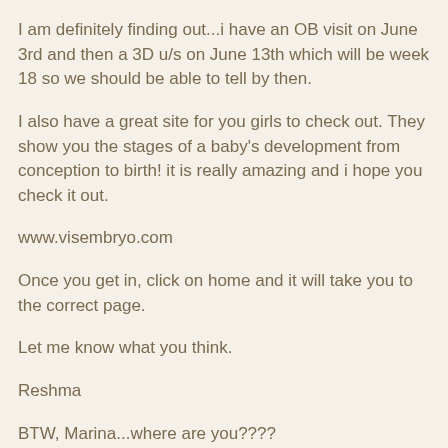I am definitely finding out...i have an OB visit on June 3rd and then a 3D u/s on June 13th which will be week 18 so we should be able to tell by then.
I also have a great site for you girls to check out. They show you the stages of a baby's development from conception to birth! it is really amazing and i hope you check it out.
www.visembryo.com
Once you get in, click on home and it will take you to the correct page.
Let me know what you think.
Reshma
BTW, Marina...where are you????